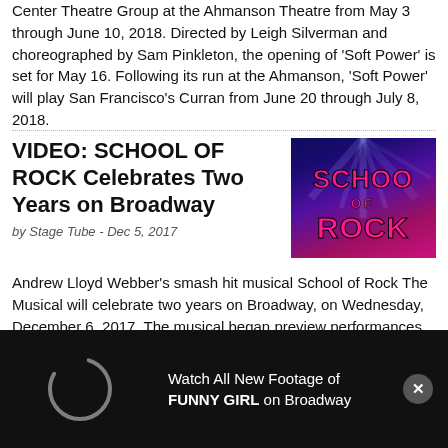Center Theatre Group at the Ahmanson Theatre from May 3 through June 10, 2018. Directed by Leigh Silverman and choreographed by Sam Pinkleton, the opening of 'Soft Power' is set for May 16. Following its run at the Ahmanson, 'Soft Power' will play San Francisco's Curran from June 20 through July 8, 2018.
VIDEO: SCHOOL OF ROCK Celebrates Two Years on Broadway
by Stage Tube - Dec 5, 2017
[Figure (photo): School of Rock Broadway show logo — pink neon text 'SCHOOL OF ROCK' on a blue/purple starlight background]
Andrew Lloyd Webber's smash hit musical School of Rock The Musical will celebrate two years on Broadway, on Wednesday, December 6, 2017. The musical began preview performances at the Winter Garden Theatre
Watch All New Footage of FUNNY GIRL on Broadway